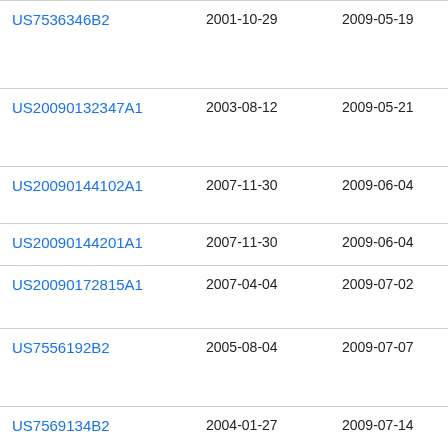| Patent | Filing Date | Publication Date | Assignee |
| --- | --- | --- | --- |
| US7536346B2 | 2001-10-29 | 2009-05-19 | Equ… |
| US20090132347A1 | 2003-08-12 | 2009-05-21 | Rus… Ano… |
| US20090144102A1 | 2007-11-30 | 2009-06-04 | Bar… Con… |
| US20090144201A1 | 2007-11-30 | 2009-06-04 | Dat… |
| US20090172815A1 | 2007-04-04 | 2009-07-02 | Gu… |
| US7556192B2 | 2005-08-04 | 2009-07-07 | Cap… Con… |
| US7569134B2 | 2004-01-27 | 2009-07-14 | R… |